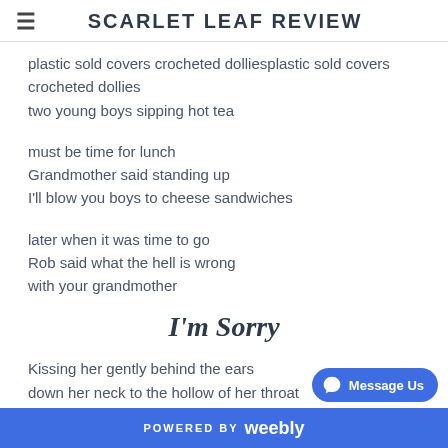SCARLET LEAF REVIEW
plastic sold covers crocheted dollies
two young boys sipping hot tea
must be time for lunch
Grandmother said standing up
I'll blow you boys to cheese sandwiches
later when it was time to go
Rob said what the hell is wrong
with your grandmother
I'm Sorry
Kissing her gently behind the ears
down her neck to the hollow of her throat
then downward between her breasts
POWERED BY weebly